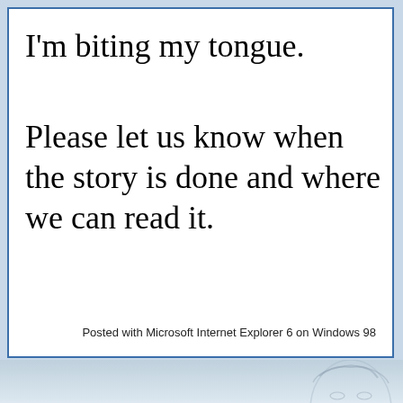I'm biting my tongue.
Please let us know when the story is done and where we can read it.
Posted with Microsoft Internet Explorer 6 on Windows 98
[Figure (illustration): Faded background illustration of a comic-style face at the bottom of the page, visible below a blue-bordered comment box on a light blue background.]